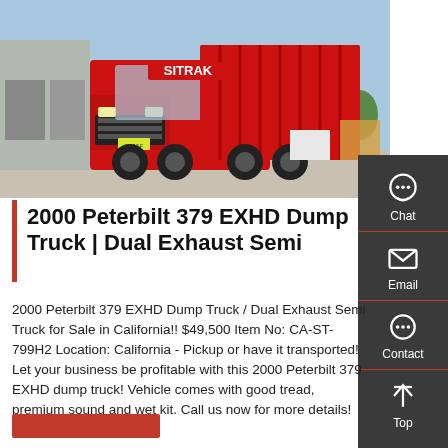[Figure (photo): Red SITRAK dump truck parked in a yard, front-angled view showing dual exhausts and dump bed, blue sky background.]
2000 Peterbilt 379 EXHD Dump Truck | Dual Exhaust Semi
2000 Peterbilt 379 EXHD Dump Truck / Dual Exhaust Semi Truck for Sale in California!! $49,500 Item No: CA-ST-799H2 Location: California - Pickup or have it transported! Let your business be profitable with this 2000 Peterbilt 379 EXHD dump truck! Vehicle comes with good tread, premium sound and wet kit. Call us now for more details!